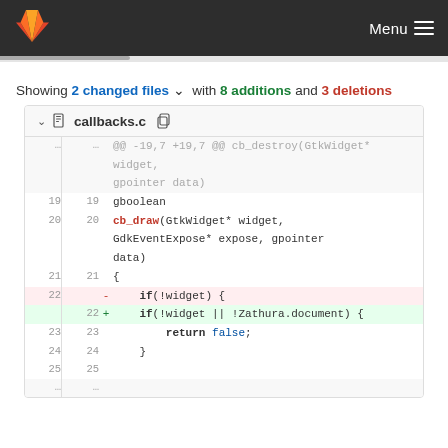GitLab — Menu
Showing 2 changed files with 8 additions and 3 deletions
| Old line | New line | Sign | Code |
| --- | --- | --- | --- |
| ... | ... |  | @@ -19,7 +19,7 @@ cb_destroy(GtkWidget* widget, gpointer data) |
| 19 | 19 |  | gboolean |
| 20 | 20 |  | cb_draw(GtkWidget* widget, GdkEventExpose* expose, gpointer data) |
| 21 | 21 |  | { |
| 22 |  | - | if(!widget) { |
|  | 22 | + | if(!widget || !Zathura.document) { |
| 23 | 23 |  |     return false; |
| 24 | 24 |  | } |
| 25 | 25 |  |  |
| ... | ... |  |  |